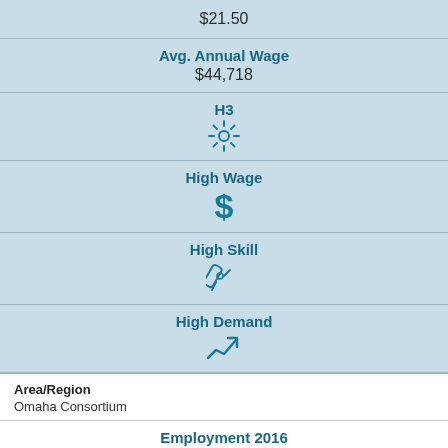$21.50
Avg. Annual Wage
$44,718
H3
High Wage
High Skill
High Demand
Area/Region
Omaha Consortium
Employment 2016
12,719
Employment 2026